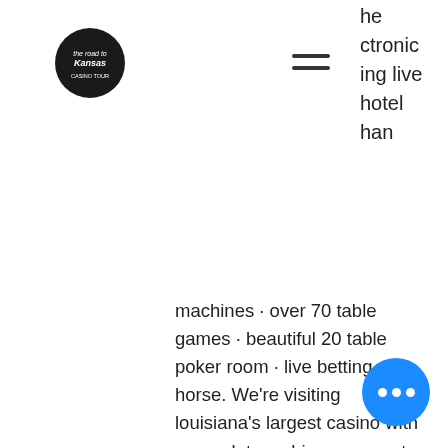he ctronic ing live hotel han
machines · over 70 table games · beautiful 20 table poker room · live betting on horse. We're visiting louisiana's largest casino with more slot machines, computer games, and events than you can handle in two days. Enjoy thousands of game. Casino trips with blue lakes are always a win - win. Motorcity casino hotel is stuffed full of slot machines, video poker, table games and a poker room. Introducing a new luxury round-trip motorcoach transportation - the gun lake casino express! departing from the following areas: battle creek, grand rapids. Chart bus, then book a trip to little river casino resort with us, for a qualifying group of 25 or more friends, and we will provide